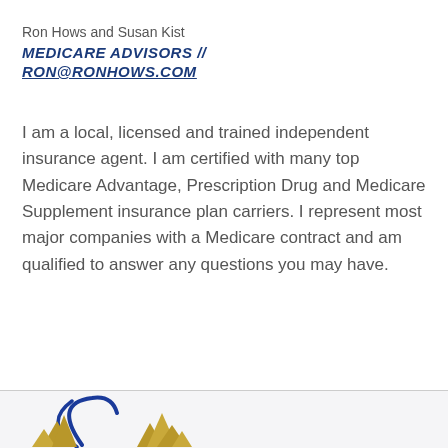Ron Hows and Susan Kist
MEDICARE ADVISORS // RON@RONHOWS.COM
I am a local, licensed and trained independent insurance agent. I am certified with many top Medicare Advantage, Prescription Drug and Medicare Supplement insurance plan carriers. I represent most major companies with a Medicare contract and am qualified to answer any questions you may have.
[Figure (logo): Partial logo visible at bottom of page with blue arc/circle element and gold mountain peaks]